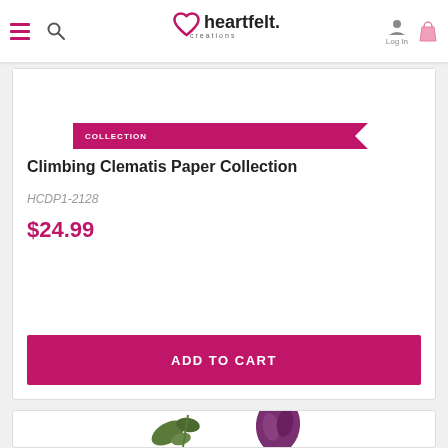Heartfelt Creations — Log In
Climbing Clematis Paper Collection
HCDP1-2128
$24.99
ADD TO CART
[Figure (photo): Bottom portion of a product card showing die-cut floral/leaf shaped embellishments on white background — green leaves and a purple flower bud.]